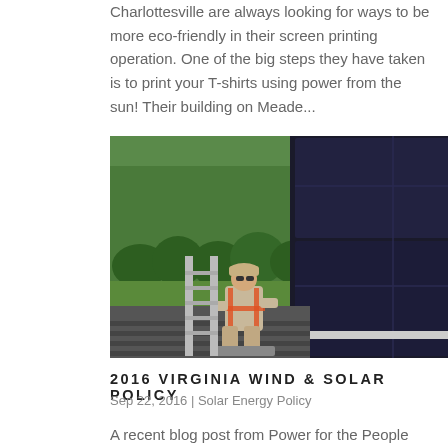Charlottesville are always looking for ways to be more eco-friendly in their screen printing operation. One of the big steps they have taken is to print your T-shirts using power from the sun! Their building on Meade...
[Figure (photo): A worker in safety harness installing solar panels on a rooftop, with green trees and lawn visible in the background below.]
2016 VIRGINIA WIND & SOLAR POLICY
Sep 22, 2016 | Solar Energy Policy
A recent blog post from Power for the People VA, "Your